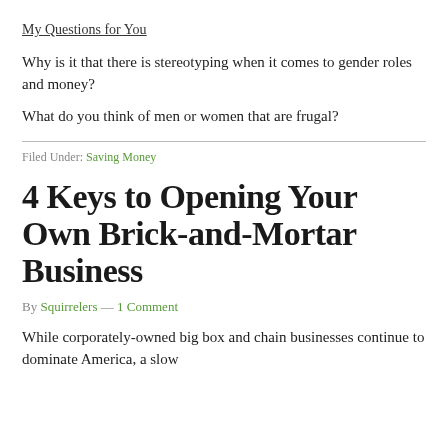My Questions for You
Why is it that there is stereotyping when it comes to gender roles and money?
What do you think of men or women that are frugal?
Filed Under: Saving Money
4 Keys to Opening Your Own Brick-and-Mortar Business
By Squirrelers — 1 Comment
While corporately-owned big box and chain businesses continue to dominate America, a slow